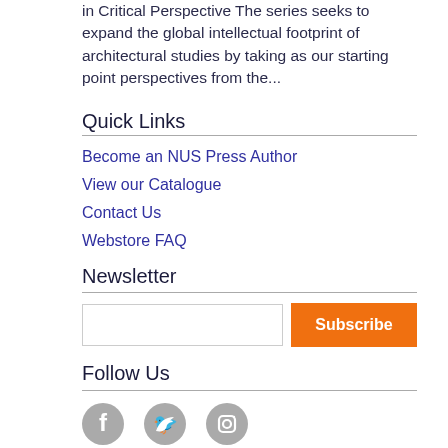in Critical Perspective The series seeks to expand the global intellectual footprint of architectural studies by taking as our starting point perspectives from the...
Quick Links
Become an NUS Press Author
View our Catalogue
Contact Us
Webstore FAQ
Newsletter
Follow Us
[Figure (illustration): Social media icons for Facebook, Twitter, and Instagram displayed as grey circular icons]